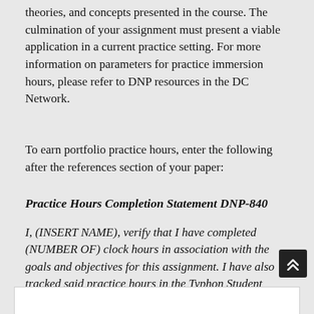theories, and concepts presented in the course. The culmination of your assignment must present a viable application in a current practice setting. For more information on parameters for practice immersion hours, please refer to DNP resources in the DC Network.
To earn portfolio practice hours, enter the following after the references section of your paper:
Practice Hours Completion Statement DNP-840
I, (INSERT NAME), verify that I have completed (NUMBER OF) clock hours in association with the goals and objectives for this assignment. I have also tracked said practice hours in the Typhon Student Tracking System for verification purposes and will be sure that all approvals are in place from my faculty and practice mentor.